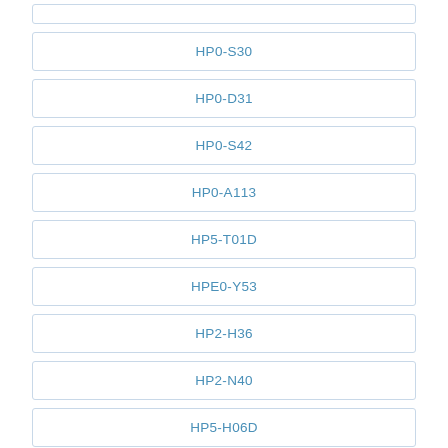HP0-S30
HP0-D31
HP0-S42
HP0-A113
HP5-T01D
HPE0-Y53
HP2-H36
HP2-N40
HP5-H06D
HP0-M53